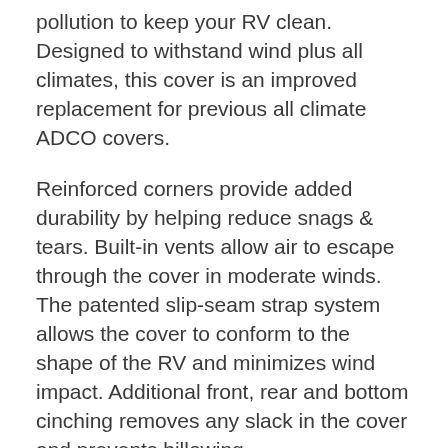pollution to keep your RV clean. Designed to withstand wind plus all climates, this cover is an improved replacement for previous all climate ADCO covers.
Reinforced corners provide added durability by helping reduce snags & tears. Built-in vents allow air to escape through the cover in moderate winds. The patented slip-seam strap system allows the cover to conform to the shape of the RV and minimizes wind impact. Additional front, rear and bottom cinching removes any slack in the cover and prevents billowing.
Multiple zipper entry doors on the passenger side allow you to access your RV without taking the entire cover on and off. The breathable material aids in preventing mold and mildew while still reducing black-streaks from forming as well as the need for washing, waxing and roof treatments.